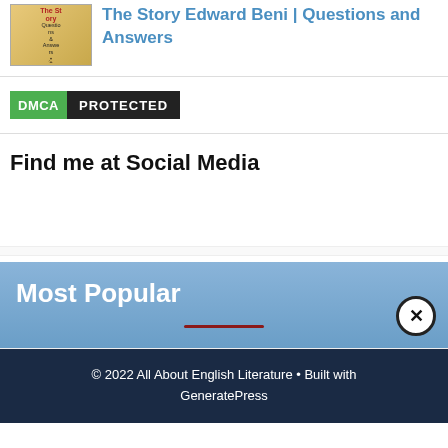The Story Edward Beni | Questions and Answers
[Figure (illustration): Book thumbnail showing a silhouette figure with text 'Questions & Answers']
[Figure (logo): DMCA Protected badge with green DMCA label and dark PROTECTED label]
Find me at Social Media
Most Popular
© 2022 All About English Literature • Built with GeneratePress